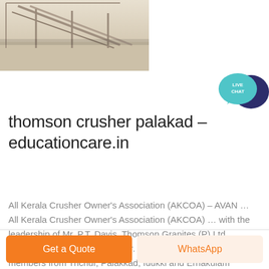[Figure (photo): Aerial or overhead photo of a stone crusher / quarry facility with industrial conveyor structures]
[Figure (infographic): Live Chat speech bubble icon with teal and dark navy colors, text reads LIVE CHAT]
thomson crusher palakad - educationcare.in
All Kerala Crusher Owner's Association (AKCOA) – AVAN … All Kerala Crusher Owner's Association (AKCOA) … with the leadership of Mr. P.T. Davis, Thomson Granites (P) Ltd., Mullakkara, Mannuthy, Thrissur. … participated more than 40 members from Trichur, Palakkad, Idukki and Ernakulam Districts.
Get a Quote
WhatsApp